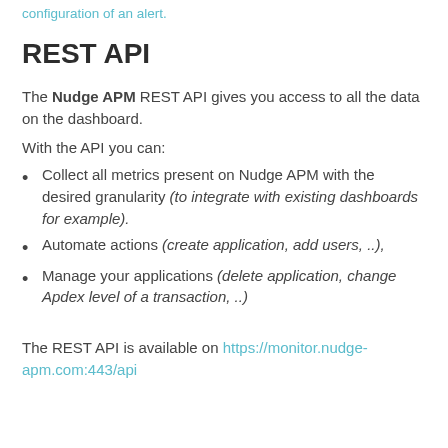configuration of an alert.
REST API
The Nudge APM REST API gives you access to all the data on the dashboard.
With the API you can:
Collect all metrics present on Nudge APM with the desired granularity (to integrate with existing dashboards for example).
Automate actions (create application, add users, ..),
Manage your applications (delete application, change Apdex level of a transaction, ..)
The REST API is available on https://monitor.nudge-apm.com:443/api